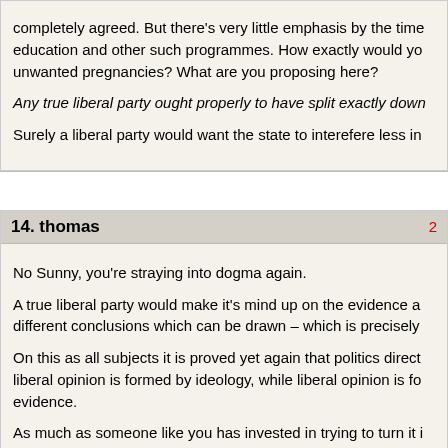completely agreed. But there's very little emphasis by the time education and other such programmes. How exactly would you reduce unwanted pregnancies? What are you proposing here?
Any true liberal party ought properly to have split exactly down...
Surely a liberal party would want the state to interefere less in...
14. thomas
No Sunny, you're straying into dogma again.
A true liberal party would make it's mind up on the evidence and different conclusions which can be drawn – which is precisely...
On this as all subjects it is proved yet again that politics directs liberal opinion is formed by ideology, while liberal opinion is for... evidence.
As much as someone like you has invested in trying to turn it i... remains a question of doctoring, not doctrine.